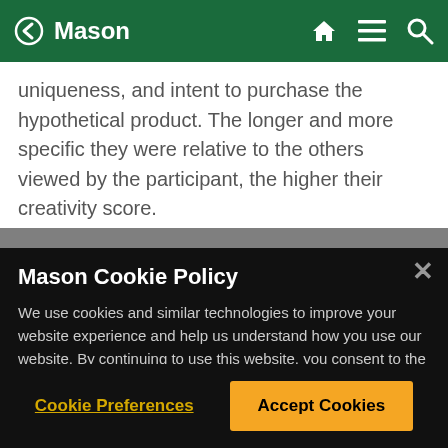Mason
uniqueness, and intent to purchase the hypothetical product. The longer and more specific they were relative to the others viewed by the participant, the higher their creativity score.
Subsequent studies revealed how this maximalist bias works. When participants were surveyed on their opinions of reading the descriptions, asking f...
Mason Cookie Policy
We use cookies and similar technologies to improve your website experience and help us understand how you use our website. By continuing to use this website, you consent to the usage of cookies. Learn more about our Cookie Policy
Cookie Preferences
Accept Cookies